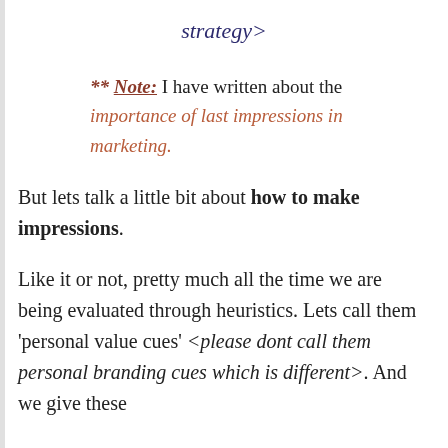strategy>
** Note: I have written about the importance of last impressions in marketing.
But lets talk a little bit about how to make impressions.
Like it or not, pretty much all the time we are being evaluated through heuristics. Lets call them ‘personal value cues’ <please dont call them personal branding cues which is different>. And we give these